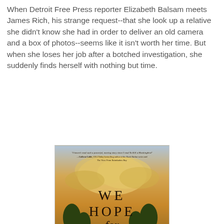When Detroit Free Press reporter Elizabeth Balsam meets James Rich, his strange request--that she look up a relative she didn't know she had in order to deliver an old camera and a box of photos--seems like it isn't worth her time. But when she loses her job after a botched investigation, she suddenly finds herself with nothing but time.
[Figure (illustration): Book cover of 'We Hope for Better Things' by Erin Bartels. Features a rural dirt road leading to a distant farmhouse, flanked by trees, under a dramatic golden-orange sunset sky. Title text 'WE HOPE for BETTER THINGS' in large serif letters. Author name 'ERIN BARTELS' at the bottom. A blurb at the top from Colleen Coble.]